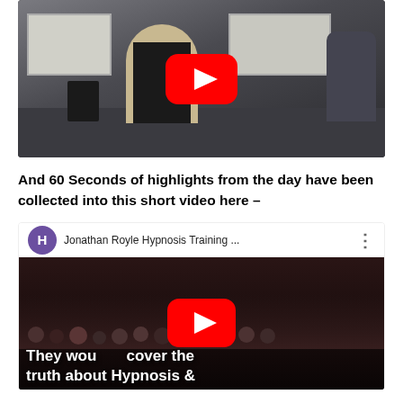[Figure (screenshot): YouTube video embed showing a man in a beige jacket standing in a conference room with other people, with a large red YouTube play button overlay in the center]
And 60 Seconds of highlights from the day have been collected into this short video here –
[Figure (screenshot): YouTube video embed with channel header showing 'H' avatar and 'Jonathan Royle Hypnosis Training ...' title, with video thumbnail showing crowd and text 'They would cover the truth about Hypnosis &' with red YouTube play button overlay]